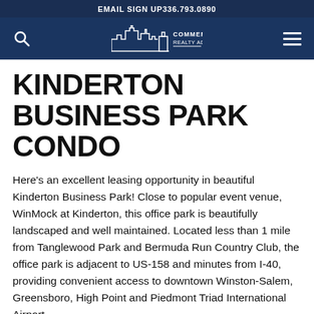EMAIL SIGN UP   336.793.0890
[Figure (logo): Commercial Realty Advisors logo with search icon, city skyline silhouette, and hamburger menu on dark navy background]
KINDERTON BUSINESS PARK CONDO
Here’s an excellent leasing opportunity in beautiful Kinderton Business Park! Close to popular event venue, WinMock at Kinderton, this office park is beautifully landscaped and well maintained. Located less than 1 mile from Tanglewood Park and Bermuda Run Country Club, the office park is adjacent to US-158 and minutes from I-40, providing convenient access to downtown Winston-Salem, Greensboro, High Point and Piedmont Triad International Airport.
The condo includes multiple private offices, conference